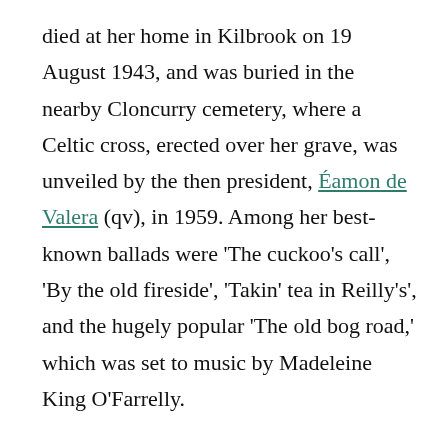died at her home in Kilbrook on 19 August 1943, and was buried in the nearby Cloncurry cemetery, where a Celtic cross, erected over her grave, was unveiled by the then president, Éamon de Valera (qv), in 1959. Among her best-known ballads were 'The cuckoo's call', 'By the old fireside', 'Takin' tea in Reilly's', and the hugely popular 'The old bog road,' which was set to music by Madeleine King O'Farrelly.
Sources
NLI MSS 23053, 24595; D. J. O' Donoghue, The poets of Ireland (1912); Ir. Independent, 21 Aug. 1943 (photo); Souvenir of unveiling of memorial